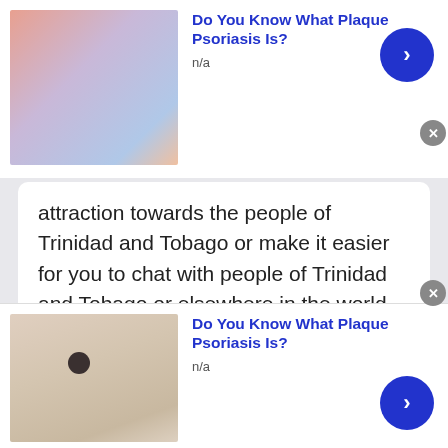[Figure (photo): Advertisement banner at top with colorful abstract image on left, blue arrow button on right]
Do You Know What Plaque Psoriasis Is?
n/a
attraction towards the people of Trinidad and Tobago or make it easier for you to chat with people of Trinidad and Tobago or elsewhere in the world.
Talk to strangers in Trinidad and Tobago
Let's talk to the world or meet new people onli...
[Figure (photo): Advertisement banner at bottom with skin/mole photo on left, blue arrow button on right]
Do You Know What Plaque Psoriasis Is?
n/a